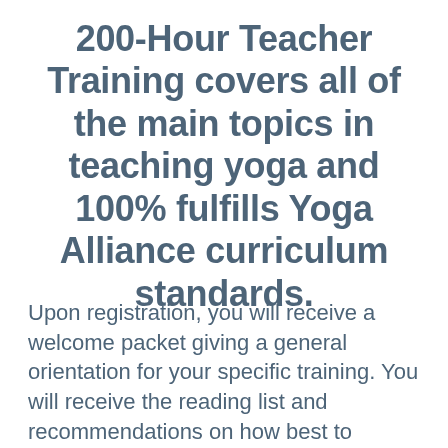200-Hour Teacher Training covers all of the main topics in teaching yoga and 100% fulfills Yoga Alliance curriculum standards.
Upon registration, you will receive a welcome packet giving a general orientation for your specific training. You will receive the reading list and recommendations on how best to further prepare to start the course.